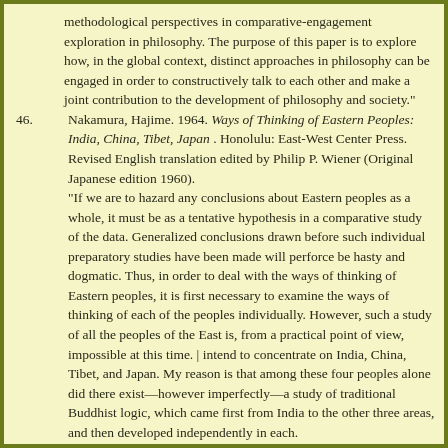methodological perspectives in comparative-engagement exploration in philosophy. The purpose of this paper is to explore how, in the global context, distinct approaches in philosophy can be engaged in order to constructively talk to each other and make a joint contribution to the development of philosophy and society."
46. Nakamura, Hajime. 1964. Ways of Thinking of Eastern Peoples: India, China, Tibet, Japan . Honolulu: East-West Center Press. Revised English translation edited by Philip P. Wiener (Original Japanese edition 1960).
"If we are to hazard any conclusions about Eastern peoples as a whole, it must be as a tentative hypothesis in a comparative study of the data. Generalized conclusions drawn before such individual preparatory studies have been made will perforce be hasty and dogmatic. Thus, in order to deal with the ways of thinking of Eastern peoples, it is first necessary to examine the ways of thinking of each of the peoples individually. However, such a study of all the peoples of the East is, from a practical point of view, impossible at this time. | intend to concentrate on India, China, Tibet, and Japan. My reason is that among these four peoples alone did there exist—however imperfectly—a study of traditional Buddhist logic, which came first from India to the other three areas, and then developed independently in each.
I believe that the various other peoples of the East have nearly the same ways of thinking as one or another of these four. Specifically, one may say that Ceylon, Burma, Thailand, and western Indo-China (Cambodia and Laos) are akin to India...